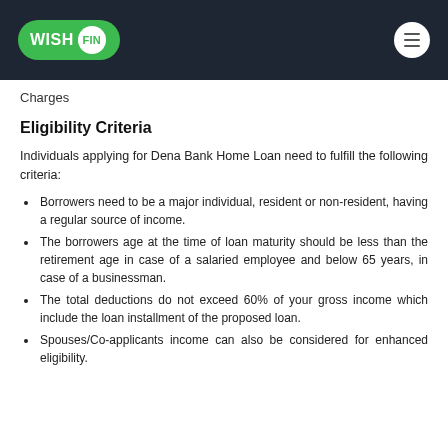WISH FIN
Charges
Eligibility Criteria
Individuals applying for Dena Bank Home Loan need to fulfill the following criteria:
Borrowers need to be a major individual, resident or non-resident, having a regular source of income.
The borrowers age at the time of loan maturity should be less than the retirement age in case of a salaried employee and below 65 years, in case of a businessman.
The total deductions do not exceed 60% of your gross income which include the loan installment of the proposed loan.
Spouses/Co-applicants income can also be considered for enhanced eligibility.